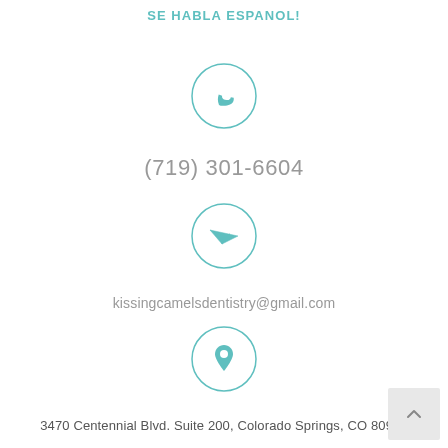SE HABLA ESPANOL!
[Figure (illustration): Phone handset icon inside a teal circle outline]
(719) 301-6604
[Figure (illustration): Paper airplane / send icon inside a teal circle outline]
kissingcamelsdentistry@gmail.com
[Figure (illustration): Map location pin icon inside a teal circle outline]
3470 Centennial Blvd. Suite 200, Colorado Springs, CO 80907